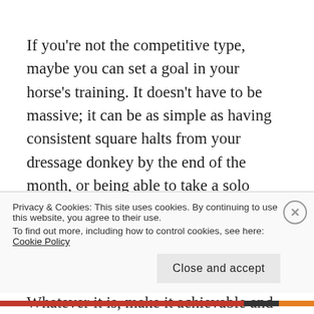If you're not the competitive type, maybe you can set a goal in your horse's training. It doesn't have to be massive; it can be as simple as having consistent square halts from your dressage donkey by the end of the month, or being able to take a solo outride on your youngster by the end of March. Or it could just be schooling your favourite project five times this week instead of the usual four. Whatever it is, make it achievable and then set out to achieve it. Having a goal
Privacy & Cookies: This site uses cookies. By continuing to use this website, you agree to their use.
To find out more, including how to control cookies, see here: Cookie Policy
Close and accept